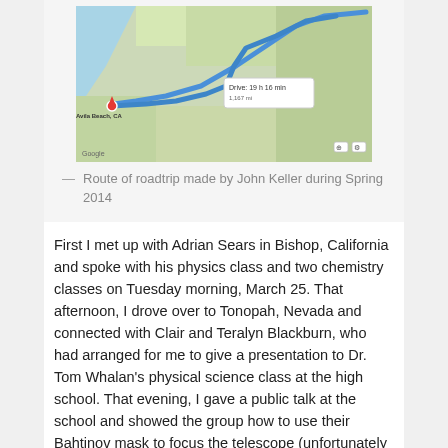[Figure (map): Google Maps screenshot showing a road trip route along California, with a blue route line and a popup showing 'Drive: 19 h 16 min / 1,167 mi'. A red marker is placed at Avila Beach, CA.]
— Route of roadtrip made by John Keller during Spring 2014
First I met up with Adrian Sears in Bishop, California and spoke with his physics class and two chemistry classes on Tuesday morning, March 25. That afternoon, I drove over to Tonopah, Nevada and connected with Clair and Teralyn Blackburn, who had arranged for me to give a presentation to Dr. Tom Whalan's physical science class at the high school. That evening, I gave a public talk at the school and showed the group how to use their Bahtinov mask to focus the telescope (unfortunately it was too cloudy for stargazing).